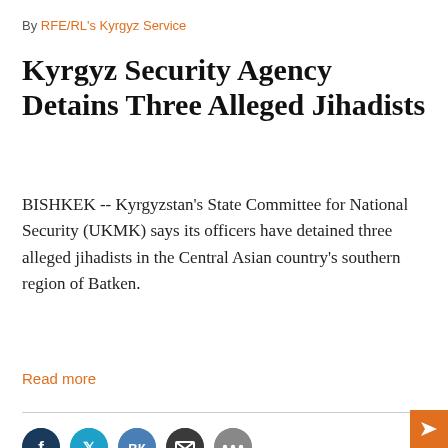By RFE/RL's Kyrgyz Service
Kyrgyz Security Agency Detains Three Alleged Jihadists
BISHKEK -- Kyrgyzstan's State Committee for National Security (UKMK) says its officers have detained three alleged jihadists in the Central Asian country's southern region of Batken.
Read more
August 26, 2022